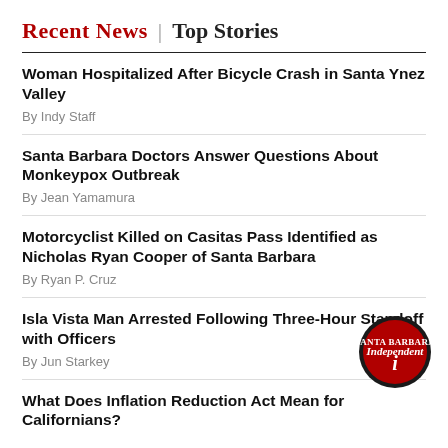Recent News | Top Stories
Woman Hospitalized After Bicycle Crash in Santa Ynez Valley
By Indy Staff
Santa Barbara Doctors Answer Questions About Monkeypox Outbreak
By Jean Yamamura
Motorcyclist Killed on Casitas Pass Identified as Nicholas Ryan Cooper of Santa Barbara
By Ryan P. Cruz
Isla Vista Man Arrested Following Three-Hour Standoff with Officers
By Jun Starkey
[Figure (logo): Santa Barbara Independent circular logo with red and black design]
What Does Inflation Reduction Act Mean for Californians?